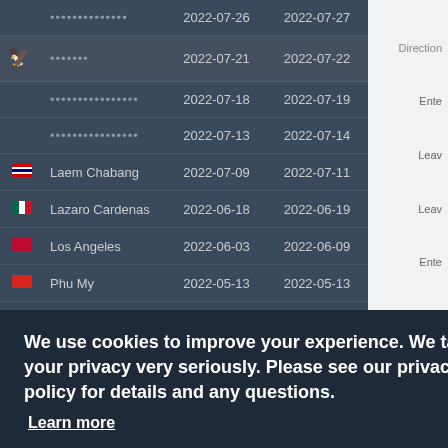| Flag | Port | Arrival | Departure | Duration |
| --- | --- | --- | --- | --- |
|  | •••••••••••••• | 2022-07-26 | 2022-07-27 | 1d 1h 50 |
| eagle | ••••••• | 2022-07-21 | 2022-07-22 | ~h 33 |
|  | •••••••••••••••• | 2022-07-18 | 2022-07-19 | 19h 27 |
|  | •••••••••••••••• | 2022-07-13 | 2022-07-14 | 1d 29 |
| TH | Laem Chabang | 2022-07-09 | 2022-07-11 | 1d 13h 27 |
| MX | Lazaro Cardenas | 2022-06-18 | 2022-06-19 | 18h 37 |
| US | Los Angeles | 2022-06-03 | 2022-06-09 | 5d 4h 20 |
| VN | Phu My | 2022-05-13 | 2022-05-13 | 14h 4 |
|  |  |  |  | 1d 10h 5 |
We use cookies to improve your experience. We take your privacy very seriously. Please see our privacy policy for details and any questions.
Learn more
Opt-out
Allow cookies
Direction
Ente
Leav
Leav
Ente
| Flag | Port | Date | Direction |
| --- | --- | --- | --- |
| HK | Hong Kong Approach | 2022-02-05 | Ente |